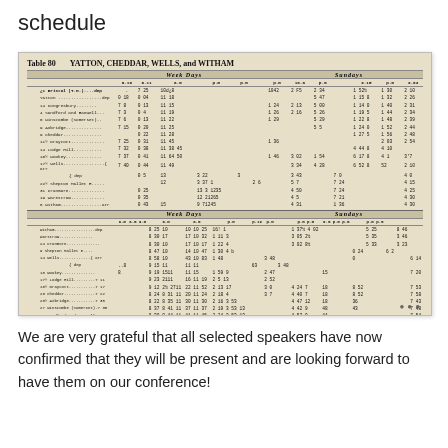schedule
[Figure (table-as-image): Vintage railway timetable for Table 80: YATTON, CHEDDAR, WELLS, and WITHAM showing weekday and Sunday train times with station stops and distances in miles. Contains two directional sections with multiple departure/arrival times and footnotes.]
We are very grateful that all selected speakers have now confirmed that they will be present and are looking forward to have them on our conference!